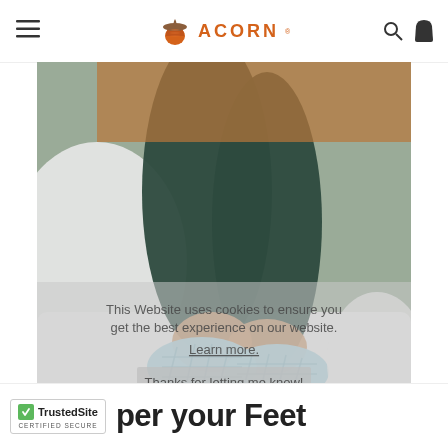ACORN
[Figure (photo): Person lying on a bed wearing light blue quilted slippers, with white bedding visible. A cookie consent overlay reads: This Website uses cookies to ensure you get the best experience on our website. Learn more. Thanks for letting me know!]
TrustedSite CERTIFIED SECURE per your Feet